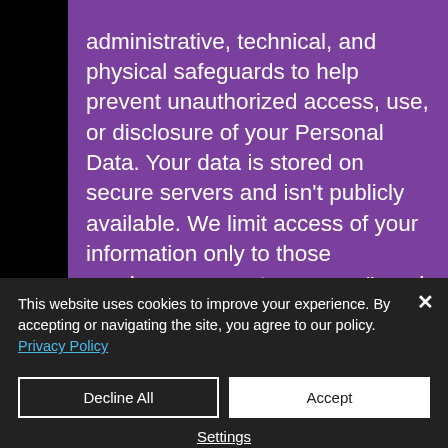administrative, technical, and physical safeguards to help prevent unauthorized access, use, or disclosure of your Personal Data. Your data is stored on secure servers and isn't publicly available. We limit access of your information only to those employees or partners on a "need to know" basis, in order to enable the carrying out
This website uses cookies to improve your experience. By accepting or navigating the site, you agree to our policy.
Privacy Policy
Decline All
Accept
Settings